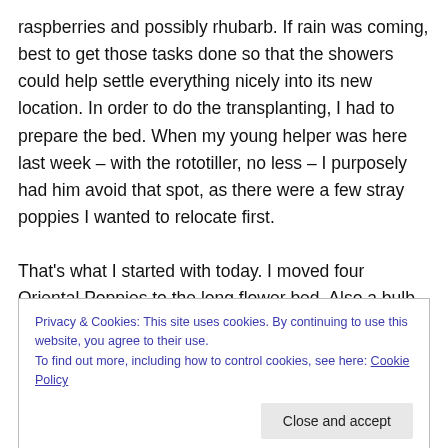raspberries and possibly rhubarb. If rain was coming, best to get those tasks done so that the showers could help settle everything nicely into its new location. In order to do the transplanting, I had to prepare the bed. When my young helper was here last week – with the rototiller, no less – I purposely had him avoid that spot, as there were a few stray poppies I wanted to relocate first.

That's what I started with today. I moved four Oriental Poppies to the long flower bed. Also a bulb that I believe is a Casa Blanca Lily – long forgotten among the overgrowth
Privacy & Cookies: This site uses cookies. By continuing to use this website, you agree to their use.
To find out more, including how to control cookies, see here: Cookie Policy
with small holes along their bases, and their spouts above